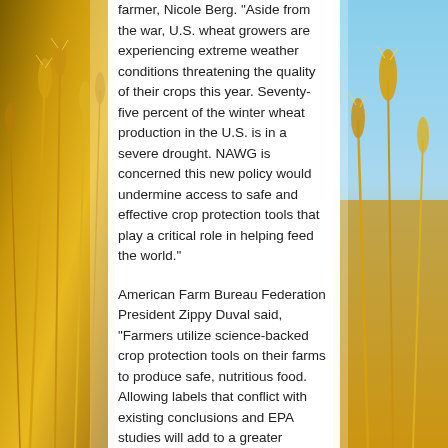[Figure (photo): Close-up photo of golden wheat stalks on the left side of the page]
[Figure (photo): Close-up photo of golden wheat stalks and blue sky on the right side of the page]
farmer, Nicole Berg. "Aside from the war, U.S. wheat growers are experiencing extreme weather conditions threatening the quality of their crops this year. Seventy-five percent of the winter wheat production in the U.S. is in a severe drought. NAWG is concerned this new policy would undermine access to safe and effective crop protection tools that play a critical role in helping feed the world."
American Farm Bureau Federation President Zippy Duval said, "Farmers utilize science-backed crop protection tools on their farms to produce safe, nutritious food. Allowing labels that conflict with existing conclusions and EPA studies will add to a greater misunderstanding of the crucial role pesticides play in enabling farmers to grow healthy, affordable food for America's families."